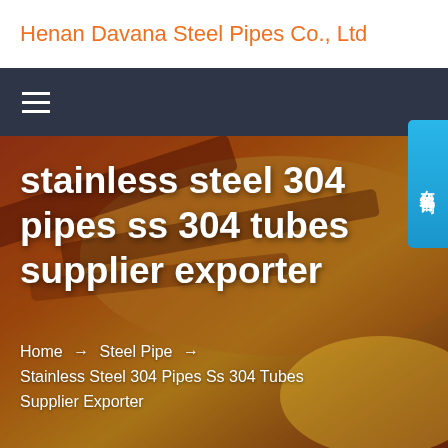Henan Davana Steel Pipes Co., Ltd
[Figure (screenshot): Dark navigation bar with hamburger menu icon (three white horizontal lines) on dark navy background, and a blue online chat button on the right side with Chinese text '在线咨询' (Online Consultation)]
[Figure (photo): Hero background image showing industrial steel pipes/manufacturing with warm orange, red, and yellow tones]
stainless steel 304 pipes ss 304 tubes supplier exporter
Home → Steel Pipe → Stainless Steel 304 Pipes Ss 304 Tubes Supplier Exporter